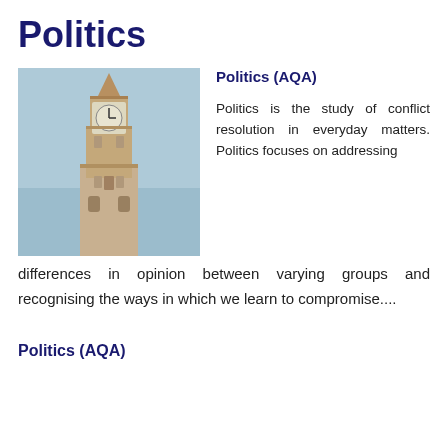Politics
[Figure (photo): Photo of Big Ben (Elizabeth Tower) against a blue sky]
Politics (AQA)
Politics is the study of conflict resolution in everyday matters. Politics focuses on addressing differences in opinion between varying groups and recognising the ways in which we learn to compromise....
Politics (AQA)